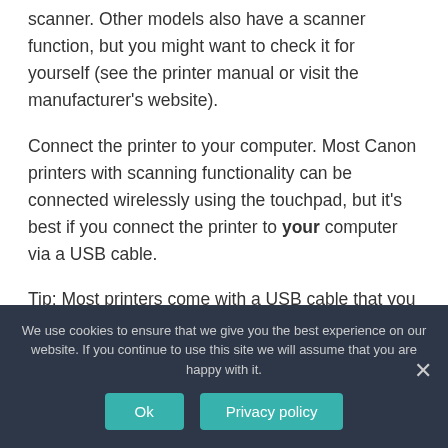scanner. Other models also have a scanner function, but you might want to check it for yourself (see the printer manual or visit the manufacturer's website).
Connect the printer to your computer. Most Canon printers with scanning functionality can be connected wirelessly using the touchpad, but it's best if you connect the printer to your computer via a USB cable.
Tip: Most printers come with a USB cable that you can use if the wireless function does not work.
Open the https://www page in your
We use cookies to ensure that we give you the best experience on our website. If you continue to use this site we will assume that you are happy with it.